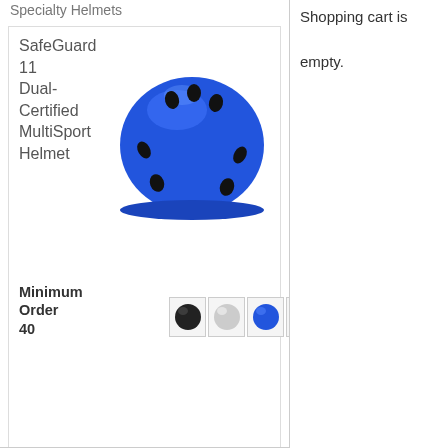Specialty Helmets
SafeGuard 11 Dual-Certified MultiSport Helmet
[Figure (photo): Blue multi-sport helmet with ventilation holes, viewed from slightly above and to the side. Watermark text reads © American Safety on the helmet.]
Minimum Order
40
[Figure (photo): Four small color swatch thumbnail images of the helmet in black, silver/white, blue, and dark blue colors.]
Any Combination Helmet Products
$14.25
Select Option:
Size
Shopping cart is empty.